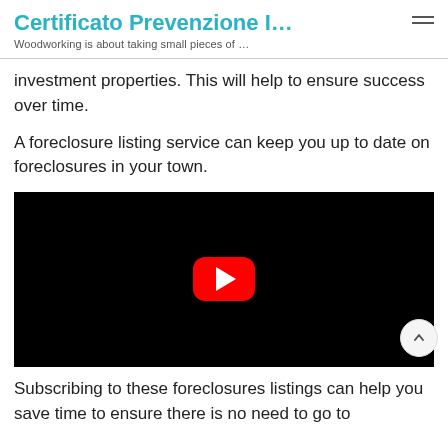Certificato Prevenzione I…
Woodworking is about taking small pieces of …
investment properties. This will help to ensure success over time.
A foreclosure listing service can keep you up to date on foreclosures in your town.
[Figure (screenshot): Black video player with YouTube play button (red rounded rectangle with white triangle) in center]
Subscribing to these foreclosures listings can help you save time to ensure there is no need to go to